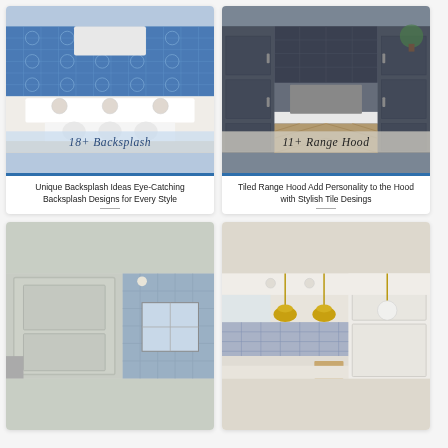[Figure (photo): White kitchen with decorative blue tile backsplash, white island with ornate legs, stove and range hood]
18+ Backsplash
Unique Backsplash Ideas Eye-Catching Backsplash Designs for Every Style
[Figure (photo): Dark navy/grey kitchen cabinets with herringbone wood floor, stainless appliances]
11+ Range Hood
Tiled Range Hood Add Personality to the Hood with Stylish Tile Desings
[Figure (photo): Light grey tall kitchen cabinets with blue tile wall in background, laundry appliance visible]
[Figure (photo): Bright white kitchen with gold/brass pendant lights and blue patterned backsplash]